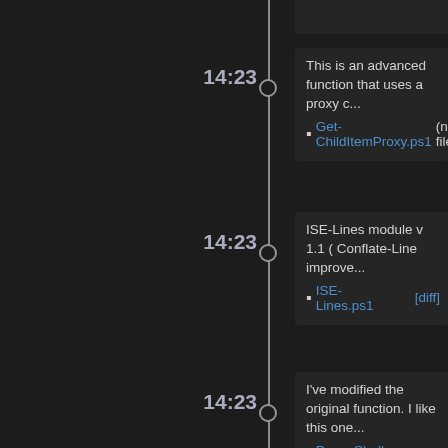This is an advanced function that uses a proxy c...
Get-ChildItemProxy.ps1 (new file) [view]
ISE-Lines module v 1.1 ( Conflate-Line improve...
ISE-Lines.ps1 [diff]
I've modified the original function. I like this one...
PowerShell-Template.ps1 [diff]
scripting for running regions by hotkeys in powe...
running-regions-in-ISE.ps1 (new file) [view...
ISE-Comments module v 1.0
ISE-Comments.ps1 [diff]
This is an updated version of Get-Packet, an IP...